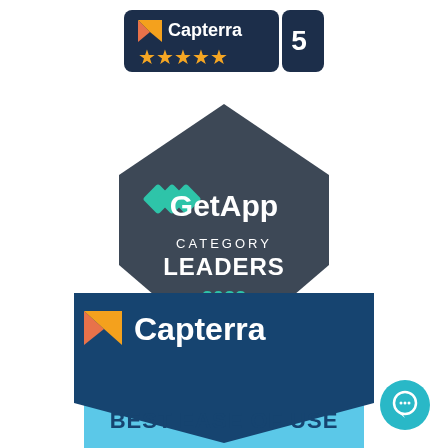[Figure (logo): Capterra badge with 5 stars and number 5 rating, dark navy background with orange stars]
[Figure (logo): GetApp Category Leaders 2022 badge, dark grey diamond/shield shape with teal chevron logo]
[Figure (logo): Capterra Best Ease of Use badge, dark blue shield shape with Capterra logo and orange/red arrow icon]